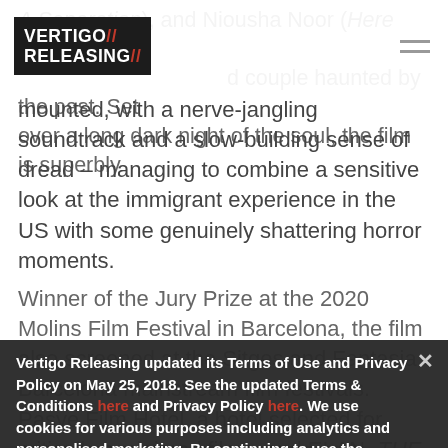[Figure (logo): Vertigo Releasing logo - white text on black background with red double slash]
A Separation), and Niousha Noor (Here and Now), as a troubled couple haunted by the past. Set over a long dark night of the soul, the film is superbly mounted, with a nerve-jangling soundtrack and a slow-building sense of dread – managing to combine a sensitive look at the immigrant experience in the US with some genuinely shattering horror moments.
Winner of the Jury Prize at the 2020 Molins Film Festival in Barcelona, the film also screened at the Sitges and Fantasia Barcelona mainstream film festivals. Pasve Film Hotel, a hotel selected for critically acclaimed films, and ELAN, THE NIGHT IS A chiller that like The Root and Here and Now, shows that horror rooted in family, grief and guilt is the most terrifying of all. The first US-produced film to be released in Iran since the 1979 revolution, Ahari's
Vertigo Releasing updated its Terms of Use and Privacy Policy on May 25, 2018. See the updated Terms & Conditions here and Privacy Policy here. We use cookies for various purposes including analytics and personalised marketing. By continuing to use the service, you agree to our use of cookies as described in the Cookie Policy.